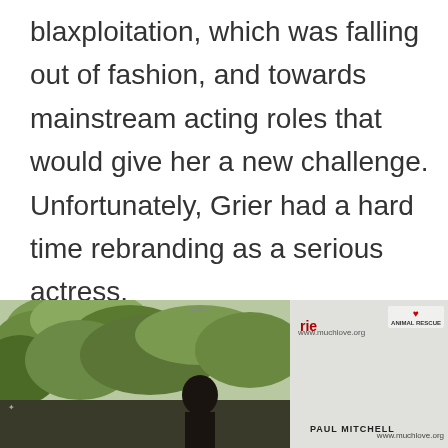blaxploitation, which was falling out of fashion, and towards mainstream acting roles that would give her a new challenge. Unfortunately, Grier had a hard time rebranding as a serious actress.

It seemed, for a time, that stardom was slipping through her fingers.
[Figure (photo): A photograph showing a person (woman with short dark hair) at what appears to be an event with sponsor banners. Visible text includes 'www.muchlove.org', 'ANIMAL RESCUE', 'PAUL MITCHELL', and other event signage. Left portion shows outdoor trees/greenery.]